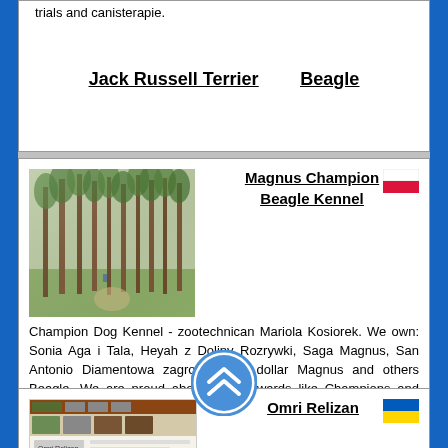trials and canisterapie.
Jack Russell Terrier    Beagle
Magnus Champion Beagle Kennel
[Figure (photo): Forest of tall pine trees with light filtering through, a path and figure visible in the background]
[Figure (infographic): Polish flag (white top, red bottom)]
Champion Dog Kennel - zootechnican Mariola Kosiorek. We own: Sonia Aga i Tala, Heyah z Doliny Rozrywki, Saga Magnus, San Antonio Diamentowa zagroda, U.S. dollar Magnus and others Beagle. We are proud about many awards like Champions and European Interchampions, also Elite Cruft Competition Qualification - England. We speak English and Russian.
Omri Relizan
[Figure (screenshot): Screenshot of a website page for Omri Relizan]
[Figure (infographic): Ukrainian flag (blue top, yellow bottom)]
Kennel Jack Russell terrier...